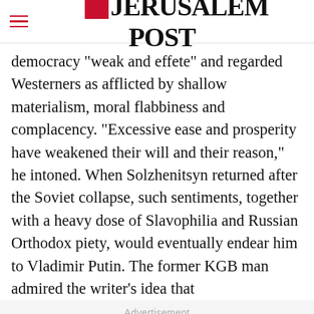THE JERUSALEM POST
democracy "weak and effete" and regarded Westerners as afflicted by shallow materialism, moral flabbiness and complacency. "Excessive ease and prosperity have weakened their will and their reason," he intoned. When Solzhenitsyn returned after the Soviet collapse, such sentiments, together with a heavy dose of Slavophilia and Russian Orthodox piety, would eventually endear him to Vladimir Putin. The former KGB man admired the writer's idea that
Advertisement